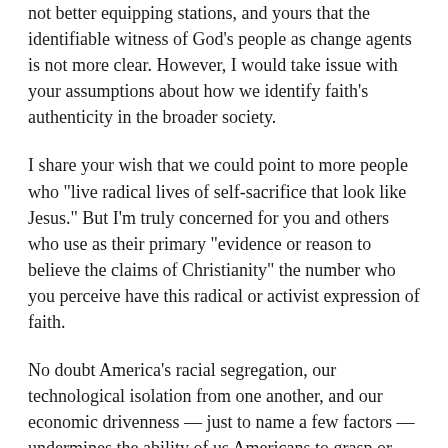not better equipping stations, and yours that the identifiable witness of God's people as change agents is not more clear. However, I would take issue with your assumptions about how we identify faith's authenticity in the broader society.
I share your wish that we could point to more people who "live radical lives of self-sacrifice that look like Jesus." But I'm truly concerned for you and others who use as their primary "evidence or reason to believe the claims of Christianity" the number who you perceive have this radical or activist expression of faith.
No doubt America's racial segregation, our technological isolation from one another, and our economic drivenness — just to name a few factors — undermines the ability of us Americans to grasp or walk out the gospel. But I will not downplay God's ability to spread His kingdom through zillions of quiet and faithful mothers and fathers, for